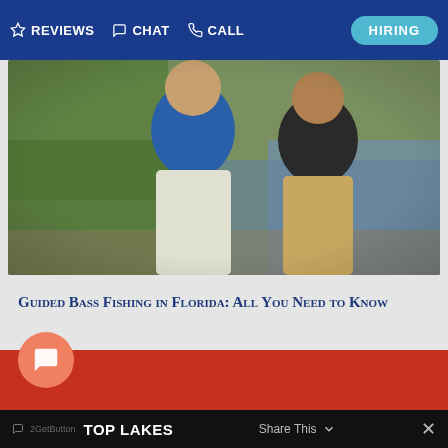REVIEWS  CHAT  CALL  HIRING
[Figure (photo): Two people fishing near a body of water with vegetation in the background]
Guided Bass Fishing in Florida: All You Need to Know
Maybe you have used a fishing guide, and perhaps you haven't. Perhaps you are a seasoned angler, or maybe you fish...
READ MORE
TOP LAKES  Share This  X